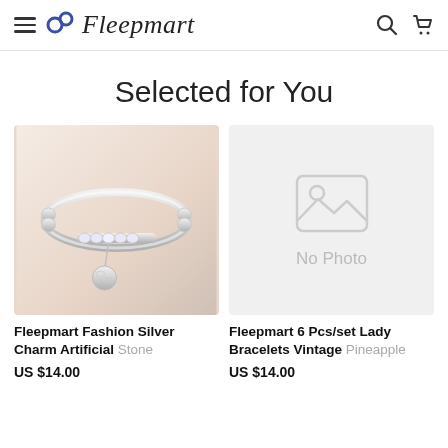Fleepmart
Selected for You
[Figure (photo): Silver charm bracelet ring with crystal stones and dangling ball pendant, photographed on a light surface]
Fleepmart Fashion Silver Charm Artificial Stone
US $14.00
[Figure (photo): No Photo placeholder image with mountain/image icon]
Fleepmart 6 Pcs/set Lady Bracelets Vintage Pineapple
US $14.00